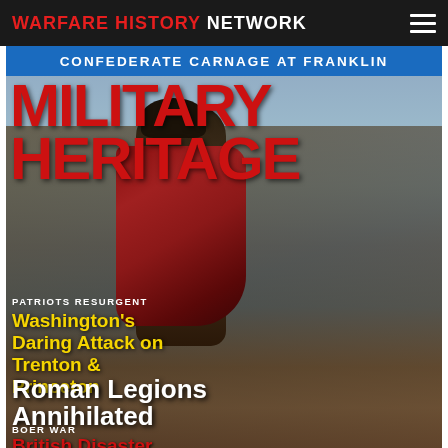WARFARE HISTORY NETWORK
CONFEDERATE CARNAGE AT FRANKLIN
[Figure (illustration): Cover of Military Heritage magazine showing a painting of George Washington and soldiers crossing the Delaware River. Washington stands prominently in the foreground wearing a dark hat and red cape.]
PATRIOTS RESURGENT
Washington's Daring Attack on Trenton & Princeton
Roman Legions Annihilated
BOER WAR
British Disaster